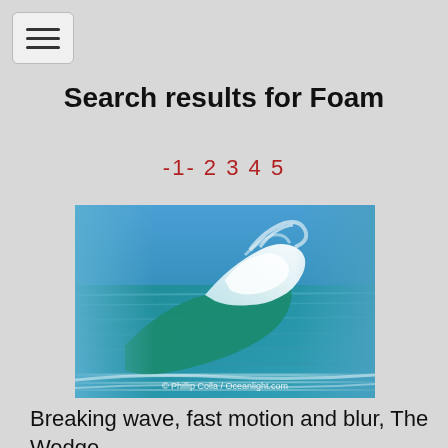[Figure (screenshot): Hamburger menu button icon in top left corner]
Search results for Foam
-1- 2 3 4 5
[Figure (photo): Breaking ocean wave with white foam and motion blur, blue water, photo by Phillip Colla / Oceanlight.com]
Breaking wave, fast motion and blur, The Wedge